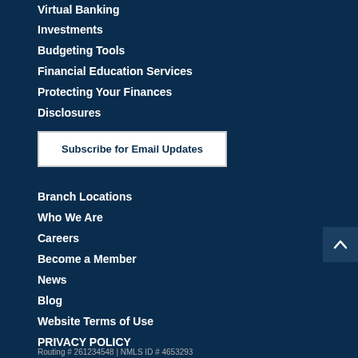Virtual Banking
Investments
Budgeting Tools
Financial Education Services
Protecting Your Finances
Disclosures
Subscribe for Email Updates
Branch Locations
Who We Are
Careers
Become a Member
News
Blog
Website Terms of Use
PRIVACY POLICY
Routing # 261234548 | NMLS ID # 4653293